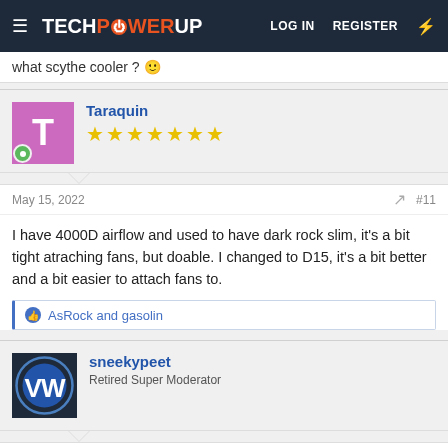TECHPOWERUP — LOG IN  REGISTER
what scythe cooler ? 😊
Taraquin ★★★★★★★
May 15, 2022   #11
I have 4000D airflow and used to have dark rock slim, it's a bit tight atraching fans, but doable. I changed to D15, it's a bit better and a bit easier to attach fans to.
👍 AsRock and gasolin
sneekypeet
Retired Super Moderator
May 15, 2022   #12